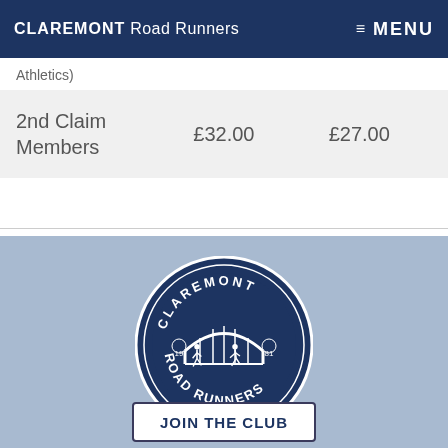CLAREMONT Road Runners  ≡ MENU
Athletics)
| 2nd Claim Members | £32.00 | £27.00 |
[Figure (logo): Claremont Road Runners circular club badge/logo on a light blue background]
JOIN THE CLUB